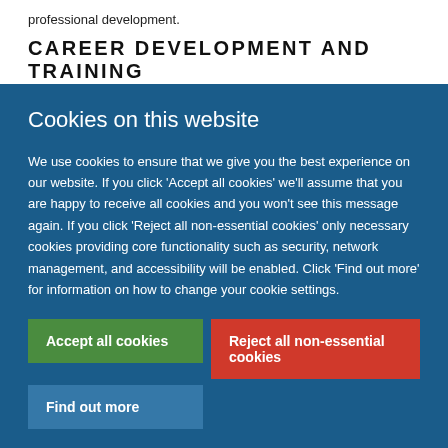professional development.
CAREER DEVELOPMENT AND TRAINING
Cookies on this website
We use cookies to ensure that we give you the best experience on our website. If you click 'Accept all cookies' we'll assume that you are happy to receive all cookies and you won't see this message again. If you click 'Reject all non-essential cookies' only necessary cookies providing core functionality such as security, network management, and accessibility will be enabled. Click 'Find out more' for information on how to change your cookie settings.
Accept all cookies
Reject all non-essential cookies
Find out more